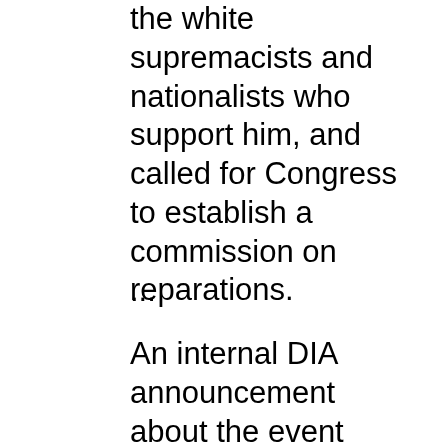the white supremacists and nationalists who support him, and called for Congress to establish a commission on reparations.
...
An internal DIA announcement about the event obtained by The Dispatch made it clear that these were the issues they’d invited Miller to discuss: “He will address Ben & Jerry’s current involvement and initiatives in combating inequality and pressing social issues.” In anticipation of the event, attendees were encouraged to watch a pre-recorded video “where he discusses the history and foundation of Ben &